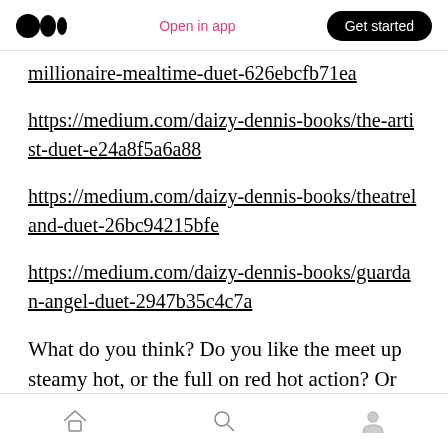Open in app | Get started
millionaire-mealtime-duet-626ebcfb71ea
https://medium.com/daizy-dennis-books/the-artist-duet-e24a8f5a6a88
https://medium.com/daizy-dennis-books/theatreland-duet-26bc94215bfe
https://medium.com/daizy-dennis-books/guardan-angel-duet-2947b35c4c7a
What do you think? Do you like the meet up steamy hot, or the full on red hot action? Or like me, a bit of both?
Home | Search | Profile